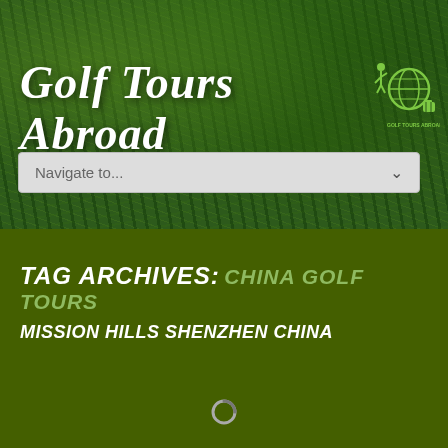[Figure (photo): Green grass background texture with dark green tones for golf website header]
Golf Tours Abroad
[Figure (logo): Golf Tours Abroad logo with golfer silhouette, globe icon, and luggage in green/yellow colors]
Navigate to...
TAG ARCHIVES: CHINA GOLF TOURS
MISSION HILLS SHENZHEN CHINA
[Figure (other): Loading spinner icon in white/gray]